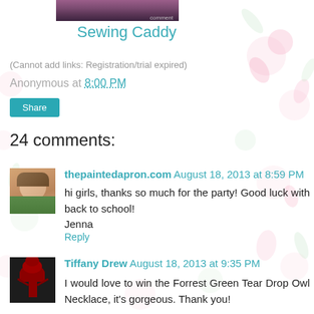[Figure (photo): Partial image of a Sewing Caddy at top]
Sewing Caddy
(Cannot add links: Registration/trial expired)
Anonymous at 8:00 PM
Share
24 comments:
[Figure (photo): Avatar of thepaintedapron.com commenter - woman portrait]
thepaintedapron.com August 18, 2013 at 8:59 PM
hi girls, thanks so much for the party! Good luck with back to school!
Jenna
Reply
[Figure (photo): Avatar of Tiffany Drew commenter - dark background with red tree]
Tiffany Drew August 18, 2013 at 9:35 PM
I would love to win the Forrest Green Tear Drop Owl Necklace, it's gorgeous. Thank you!